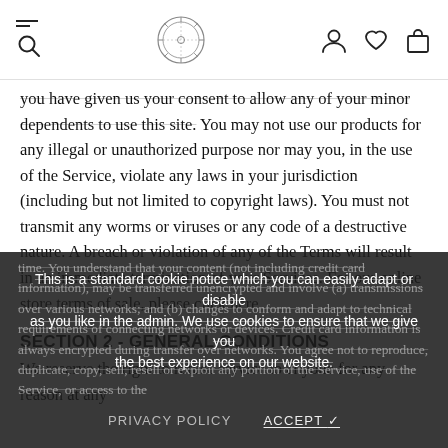[Navigation header with menu, logo, user/wishlist/cart icons]
you have given us your consent to allow any of your minor dependents to use this site. You may not use our products for any illegal or unauthorized purpose nor may you, in the use of the Service, violate any laws in your jurisdiction (including but not limited to copyright laws). You must not transmit any worms or viruses or any code of a destructive nature. A breach or violation of any of the Terms will result in an immediate termination of your Services. For our online store terms of sale, please click here.
SECTION 2 - GENERAL CONDITIONS
We reserve the right to refuse service to anyone for any reason at any time. You understand that your content (not including credit card information), may be transferred unencrypted and involve (a) transmissions over various networks; and (b) changes to conform and adapt to technical requirements of connecting networks or devices. Credit card information is always encrypted during transfer over networks. You agree not to reproduce, duplicate, copy, sell, resell or exploit any portion of the Service, use of the Service, or access to the
This is a standard cookie notice which you can easily adapt or disable as you like in the admin. We use cookies to ensure that we give you the best experience on our website.
PRIVACY POLICY   ACCEPT ✓